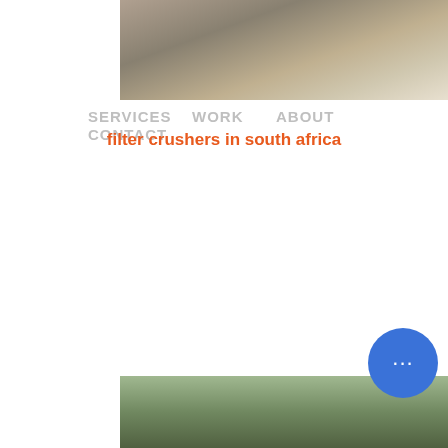[Figure (photo): Top photo of industrial/construction equipment interior, gray tones]
SERVICES   WORK      ABOUT   CONTACT
filter crushers in south africa
filter crushers in south africa. Home › ... Stone Crusher In South Africa - Alibaba. ... Oil Filter Crusher - Garage Equipment. The company supplies, installs and maintains a comprehensive range of vehicle maintenance product for all types of vehicles. We supply equipment for the...
[Figure (illustration): Live Chat bubble icon in cyan/teal color]
COLOR:
Orange
Blue
Yellow
[Figure (photo): Bottom photo of outdoor industrial equipment or machinery with green vegetation background]
[Figure (illustration): Chat widget circle button with three dots, blue color, bottom right]